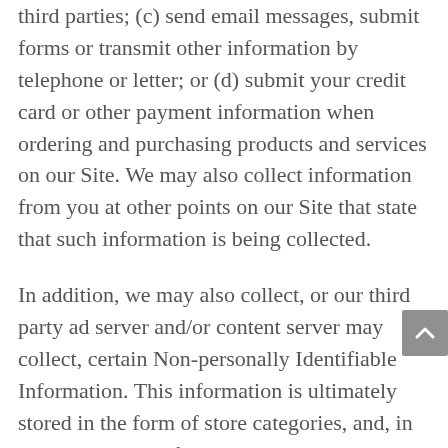third parties; (c) send email messages, submit forms or transmit other information by telephone or letter; or (d) submit your credit card or other payment information when ordering and purchasing products and services on our Site. We may also collect information from you at other points on our Site that state that such information is being collected.
In addition, we may also collect, or our third party ad server and/or content server may collect, certain Non-personally Identifiable Information. This information is ultimately stored in the form of store categories, and, in some cases, specific URLs. We use your IP address to diagnose problems with our